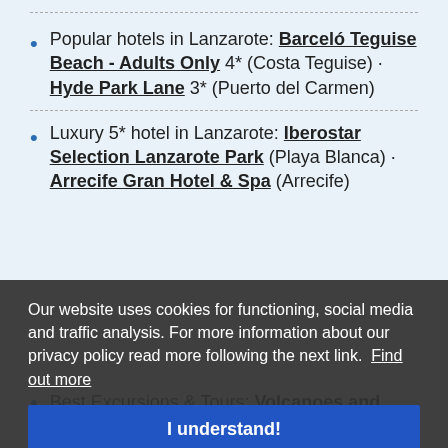Popular hotels in Lanzarote: Barceló Teguise Beach - Adults Only 4* (Costa Teguise) · Hyde Park Lane 3* (Puerto del Carmen)
Luxury 5* hotel in Lanzarote: Iberostar Selection Lanzarote Park (Playa Blanca) · Arrecife Gran Hotel & Spa (Arrecife)
Our website uses cookies for functioning, social media and traffic analysis. For more information about our privacy policy read more following the next link. Find out more
I understand!
Best Excursions & Tours: Volcanoes and Caves: Full-Day Tour · Fire Mountains in